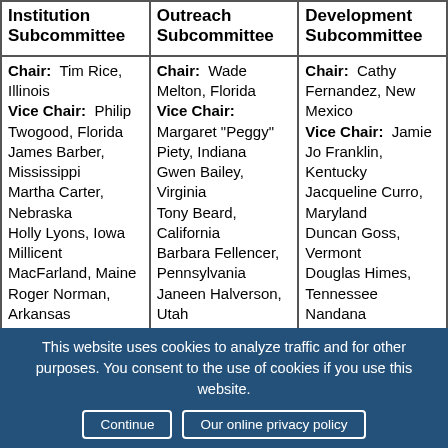| Institution Subcommittee | Outreach Subcommittee | Development Subcommittee |
| --- | --- | --- |
| Chair: Tim Rice, Illinois
Vice Chair: Philip Twogood, Florida
James Barber, Mississippi
Martha Carter, Nebraska
Holly Lyons, Iowa
Millicent MacFarland, Maine
Roger Norman, Arkansas
Linda Pittsford, | Chair: Wade Melton, Florida
Vice Chair: Margaret "Peggy" Piety, Indiana
Gwen Bailey, Virginia
Tony Beard, California
Barbara Fellencer, Pennsylvania
Janeen Halverson, Utah
Shirley Iorio, North | Chair: Cathy Fernandez, New Mexico
Vice Chair: Jamie Jo Franklin, Kentucky
Jacqueline Curro, Maryland
Duncan Goss, Vermont
Douglas Himes, Tennessee
Nandana Kalupahana, Hawaii
Phil Price, Arkansas |
This website uses cookies to analyze traffic and for other purposes. You consent to the use of cookies if you use this website. Continue | Our online privacy policy